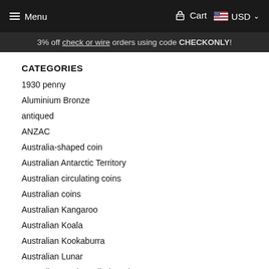Menu   Cart   USD
3% off check or wire orders using code CHECKONLY!
CATEGORIES
1930 penny
Aluminium Bronze
antiqued
ANZAC
Australia-shaped coin
Australian Antarctic Territory
Australian circulating coins
Australian coins
Australian Kangaroo
Australian Koala
Australian Kookaburra
Australian Lunar
Australian Wedge-tailed Eagle
Aviation